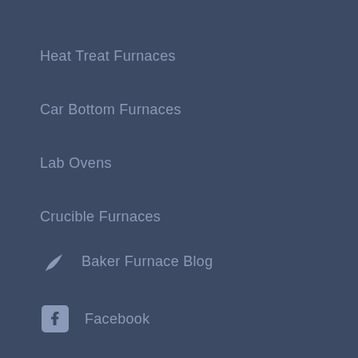Heat Treat Furnaces
Car Bottom Furnaces
Lab Ovens
Crucible Furnaces
Baker Furnace Blog
Facebook
Twitter
Linked In